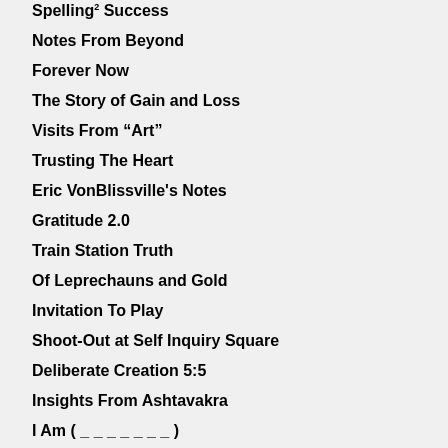Spelling² Success
Notes From Beyond
Forever Now
The Story of Gain and Loss
Visits From “Art”
Trusting The Heart
Eric VonBlissville's Notes
Gratitude 2.0
Train Station Truth
Of Leprechauns and Gold
Invitation To Play
Shoot-Out at Self Inquiry Square
Deliberate Creation 5:5
Insights From Ashtavakra
I Am ( _ _ _ _ _ _ _ )
The Dom Dom...